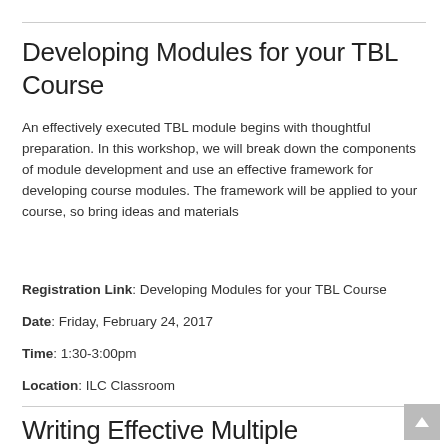Developing Modules for your TBL Course
An effectively executed TBL module begins with thoughtful preparation. In this workshop, we will break down the components of module development and use an effective framework for developing course modules. The framework will be applied to your course, so bring ideas and materials
Registration Link: Developing Modules for your TBL Course
Date: Friday, February 24, 2017
Time: 1:30-3:00pm
Location: ILC Classroom
Writing Effective Multiple Choice Questions for your TBL Course